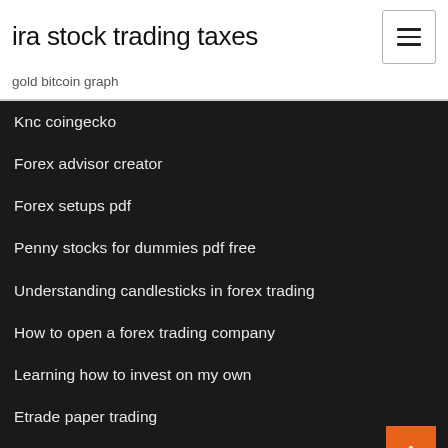ira stock trading taxes
gold bitcoin graph
Knc coingecko
Forex advisor creator
Forex setups pdf
Penny stocks for dummies pdf free
Understanding candlesticks in forex trading
How to open a forex trading company
Learning how to invest on my own
Etrade paper trading
Vixy stock price
Best mutual funds etrade